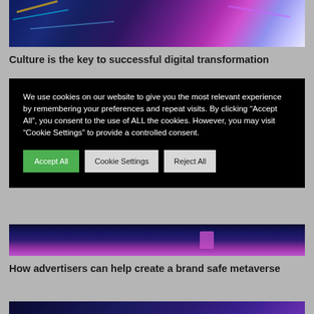[Figure (photo): Abstract digital/tech background image with dark blue, purple, and cyan colors with light streaks]
Culture is the key to successful digital transformation
We use cookies on our website to give you the most relevant experience by remembering your preferences and repeat visits. By clicking “Accept All”, you consent to the use of ALL the cookies. However, you may visit “Cookie Settings” to provide a controlled consent.
[Figure (photo): Abstract dark blue and purple background image, partially visible]
How advertisers can help create a brand safe metaverse
[Figure (photo): Dark teal and blue abstract image strip at the bottom]